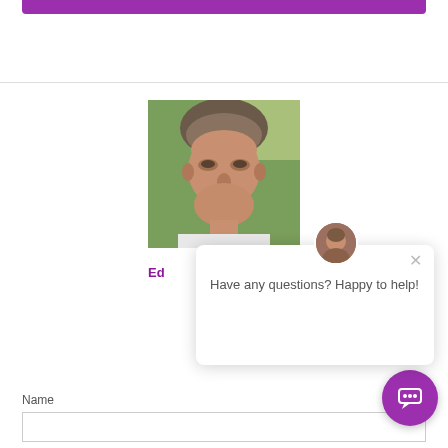[Figure (screenshot): Purple rounded button/bar at top of page]
[Figure (photo): Headshot photo of a middle-aged man with short hair, outdoors with green background]
Ed
[Figure (screenshot): Chat popup bubble with avatar showing a person's face, close X button, and text 'Have any questions? Happy to help!']
Have any questions? Happy to help!
Name
[Figure (screenshot): Purple circular chat button with speech bubble icon in bottom right corner]